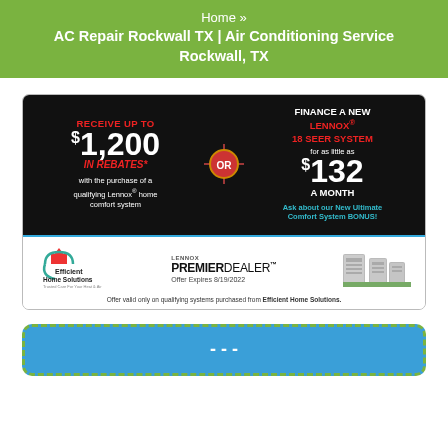Home » AC Repair Rockwall TX | Air Conditioning Service Rockwall, TX
[Figure (infographic): Lennox rebate advertisement: Receive up to $1,200 in rebates OR finance a new Lennox 18 SEER system for as little as $132 a month. Efficient Home Solutions, Lennox Premier Dealer. Offer Expires 8/19/2022.]
[Figure (infographic): Partially visible bottom promotional banner with dashed green border and blue background.]